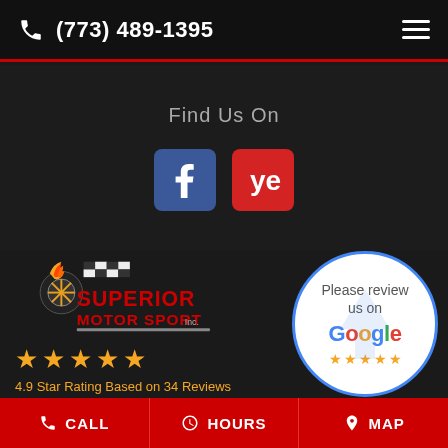(773) 489-1395
Find Us On
[Figure (logo): Facebook and Yelp social media icons]
[Figure (logo): Superior Motor Sport Inc. logo with flaming tire graphic]
[Figure (other): Google review badge circle with 'Please review us on Google' text and stars]
4.9 Star Rating Based on 34 Reviews
CALL   HOURS   MAP